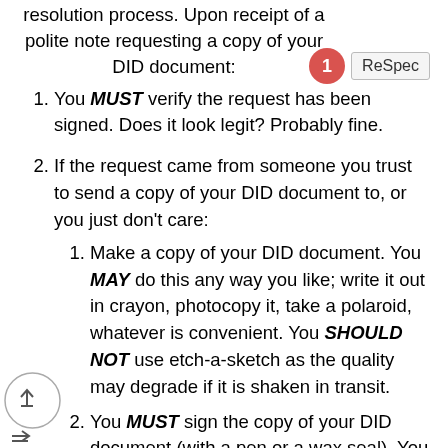resolution process. Upon receipt of a polite note requesting a copy of your DID document:
You MUST verify the request has been signed. Does it look legit? Probably fine.
If the request came from someone you trust to send a copy of your DID document to, or you just don't care:
Make a copy of your DID document. You MAY do this any way you like; write it out in crayon, photocopy it, take a polaroid, whatever is convenient. You SHOULD NOT use etch-a-sketch as the quality may degrade if it is shaken in transit.
You MUST sign the copy of your DID document (with a pen or a wax seal). You MUST include the date the copy was made, in ISO 8601 format. You MAY include any additional metadata, polite notes or in-jokes